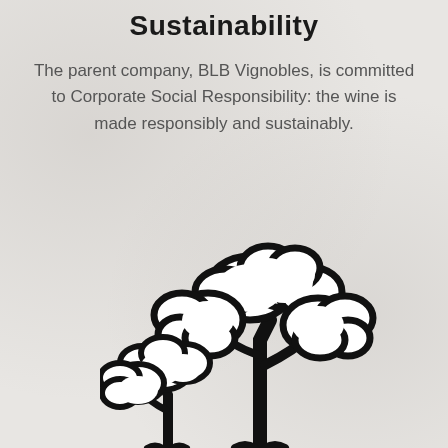Sustainability
The parent company, BLB Vignobles, is committed to Corporate Social Responsibility: the wine is made responsibly and sustainably.
[Figure (illustration): Black and white illustration of two stylized trees with cloud-like foliage, one large and one smaller, with trunks and roots visible at the bottom.]